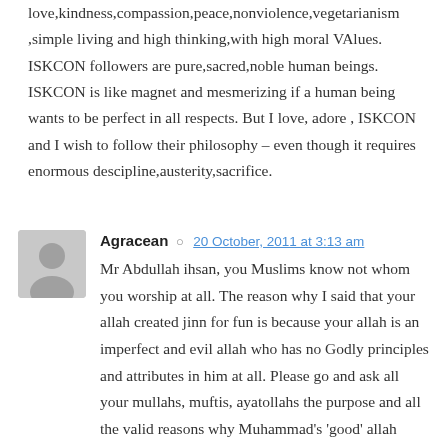love,kindness,compassion,peace,nonviolence,vegetarianism ,simple living and high thinking,with high moral VAlues. ISKCON followers are pure,sacred,noble human beings. ISKCON is like magnet and mesmerizing if a human being wants to be perfect in all respects. But I love, adore , ISKCON and I wish to follow their philosophy – even though it requires enormous descipline,austerity,sacrifice.
Agracean  20 October, 2011 at 3:13 am
Mr Abdullah ihsan, you Muslims know not whom you worship at all. The reason why I said that your allah created jinn for fun is because your allah is an imperfect and evil allah who has no Godly principles and attributes in him at all. Please go and ask all your mullahs, muftis, ayatollahs the purpose and all the valid reasons why Muhammad's 'good' allah wanted to create jinn in the first place and then, we'll discuss this interesting lie further. As for the mosquito issue, you may also wish to ask all these super religious muslim clerics who love to wear long black or